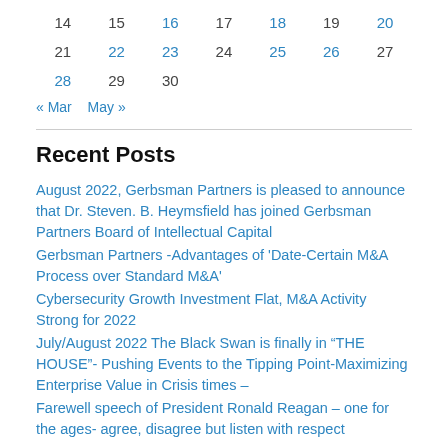| 14 | 15 | 16 | 17 | 18 | 19 | 20 |
| 21 | 22 | 23 | 24 | 25 | 26 | 27 |
| 28 | 29 | 30 |  |  |  |  |
« Mar   May »
Recent Posts
August 2022, Gerbsman Partners is pleased to announce that Dr. Steven. B. Heymsfield has joined Gerbsman Partners Board of Intellectual Capital
Gerbsman Partners -Advantages of 'Date-Certain M&A Process over Standard M&A'
Cybersecurity Growth Investment Flat, M&A Activity Strong for 2022
July/August 2022 The Black Swan is finally in “THE HOUSE”- Pushing Events to the Tipping Point-Maximizing Enterprise Value in Crisis times –
Farewell speech of President Ronald Reagan – one for the ages- agree, disagree but listen with respect